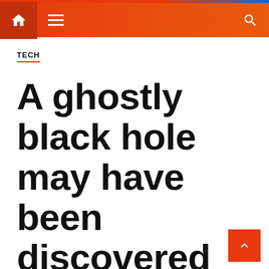TECH (navigation bar with home, menu, search)
TECH
A ghostly black hole may have been discovered by researchers at